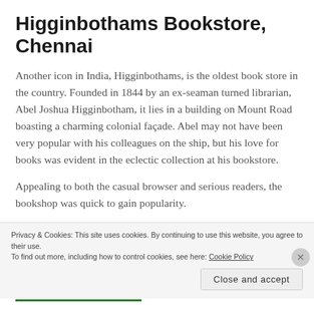Higginbothams Bookstore, Chennai
Another icon in India, Higginbothams, is the oldest book store in the country. Founded in 1844 by an ex-seaman turned librarian, Abel Joshua Higginbotham, it lies in a building on Mount Road boasting a charming colonial façade. Abel may not have been very popular with his colleagues on the ship, but his love for books was evident in the eclectic collection at his bookstore.
Appealing to both the casual browser and serious readers, the bookshop was quick to gain popularity.
Privacy & Cookies: This site uses cookies. By continuing to use this website, you agree to their use.
To find out more, including how to control cookies, see here: Cookie Policy
Close and accept